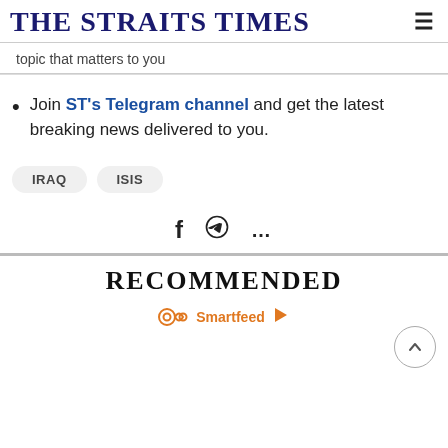THE STRAITS TIMES
topic that matters to you
Join ST's Telegram channel and get the latest breaking news delivered to you.
IRAQ  ISIS
RECOMMENDED
Smartfeed